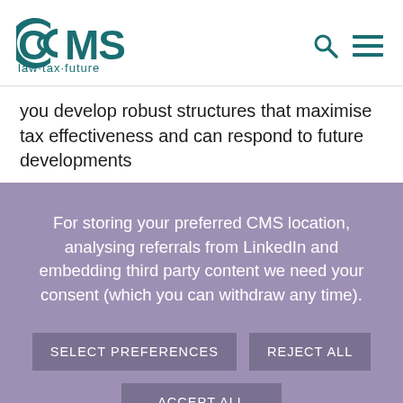[Figure (logo): CMS law·tax·future logo in teal/dark green color]
you develop robust structures that maximise tax effectiveness and can respond to future developments
For storing your preferred CMS location, analysing referrals from LinkedIn and embedding third party content we need your consent (which you can withdraw any time).
SELECT PREFERENCES
REJECT ALL
ACCEPT ALL
For more information visit our Cookie Notice.